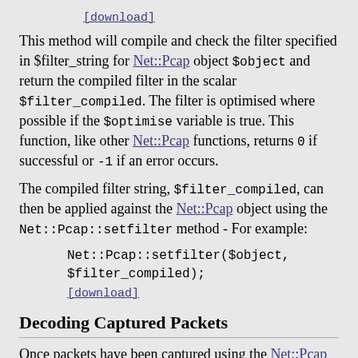[download]
This method will compile and check the filter specified in $filter_string for Net::Pcap object $object and return the compiled filter in the scalar $filter_compiled. The filter is optimised where possible if the $optimise variable is true. This function, like other Net::Pcap functions, returns 0 if successful or -1 if an error occurs.
The compiled filter string, $filter_compiled, can then be applied against the Net::Pcap object using the Net::Pcap::setfilter method - For example:
Net::Pcap::setfilter($object,
$filter_compiled);
[download]
Decoding Captured Packets
Once packets have been captured using the Net::Pcap interface to libpcap, the next step is to decode this packets and make sense of the network packet data collected. This can be performed by constructing unpack templates for